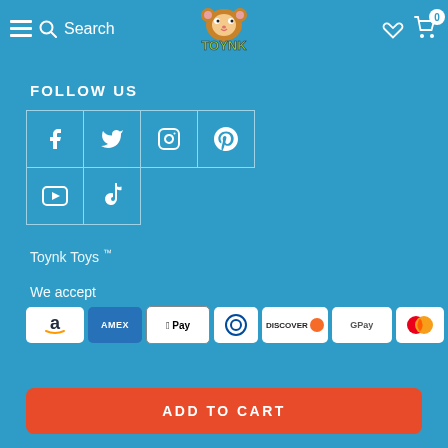[Figure (logo): TOYNK mascot logo with hamster and green text]
FOLLOW US
[Figure (infographic): Social media icons grid: Facebook, Twitter, Instagram, Pinterest (top row), YouTube, TikTok (bottom row)]
Toynk Toys ™
We accept
[Figure (infographic): Payment icons: Amazon, Amex, Apple Pay, Diners Club, Discover, Google Pay, Mastercard, PayPal]
ADD TO CART